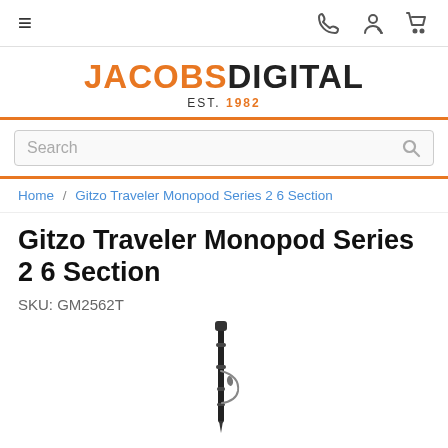Navigation bar with hamburger menu, phone, account, and cart icons
[Figure (logo): Jacobs Digital logo with JACOBS in orange and DIGITAL in black, EST. 1982 below]
Search
Home / Gitzo Traveler Monopod Series 2 6 Section
Gitzo Traveler Monopod Series 2 6 Section
SKU: GM2562T
[Figure (photo): Gitzo Traveler Monopod Series 2 6 Section product photo showing a black monopod with wrist strap]